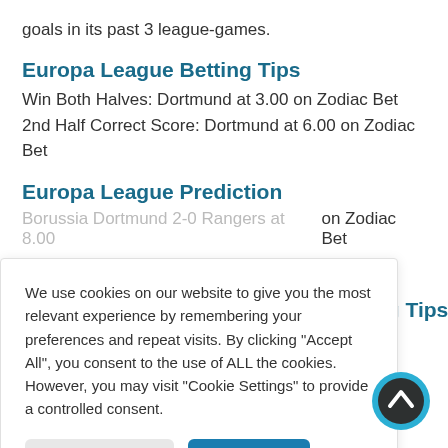goals in its past 3 league-games.
Europa League Betting Tips
Win Both Halves: Dortmund at 3.00 on Zodiac Bet
2nd Half Correct Score: Dortmund at 6.00 on Zodiac Bet
Europa League Prediction
Borussia Dortmund 2-0 Rangers at 8.00 on Zodiac Bet
ng Tips
We use cookies on our website to give you the most relevant experience by remembering your preferences and repeat visits. By clicking "Accept All", you consent to the use of ALL the cookies. However, you may visit "Cookie Settings" to provide a controlled consent.
Cookie Settings
Accept All